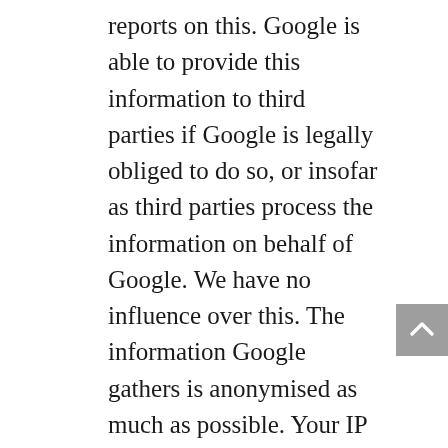reports on this. Google is able to provide this information to third parties if Google is legally obliged to do so, or insofar as third parties process the information on behalf of Google. We have no influence over this. The information Google gathers is anonymised as much as possible. Your IP address is explicitly not disclosed and so cannot be traced back to you personally. The information is transferred to and stored by Google on servers in the United States. Google states that it abides by the Privacy Shield principles, and is affiliated with the Privacy Shield programme of the US Department of Trade. This entails that a suitable level of protection applies for processing any personal information.